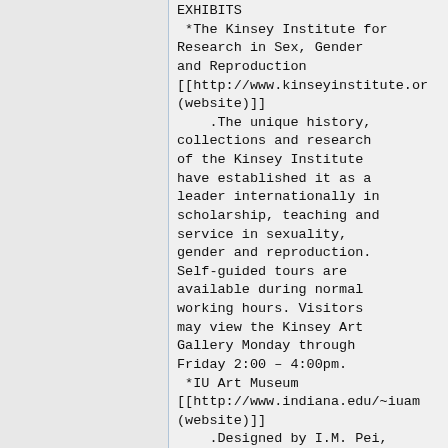EXHIBITS
*The Kinsey Institute for Research in Sex, Gender and Reproduction [[http://www.kinseyinstitute.org (website)]]
    .The unique history, collections and research of the Kinsey Institute have established it as a leader internationally in scholarship, teaching and service in sexuality, gender and reproduction. Self-guided tours are available during normal working hours. Visitors may view the Kinsey Art Gallery Monday through Friday 2:00 – 4:00pm.
*IU Art Museum [[http://www.indiana.edu/~iuam (website)]]
    .Designed by I.M. Pei, the building itself is a